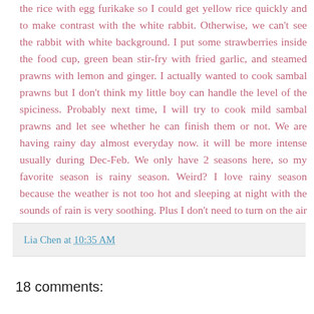the rice with egg furikake so I could get yellow rice quickly and to make contrast with the white rabbit. Otherwise, we can't see the rabbit with white background. I put some strawberries inside the food cup, green bean stir-fry with fried garlic, and steamed prawns with lemon and ginger. I actually wanted to cook sambal prawns but I don't think my little boy can handle the level of the spiciness. Probably next time, I will try to cook mild sambal prawns and let see whether he can finish them or not. We are having rainy day almost everyday now. it will be more intense usually during Dec-Feb. We only have 2 seasons here, so my favorite season is rainy season. Weird? I love rainy season because the weather is not too hot and sleeping at night with the sounds of rain is very soothing. Plus I don't need to turn on the air conditioner all night long until morning :)
Lia Chen at 10:35 AM
18 comments: